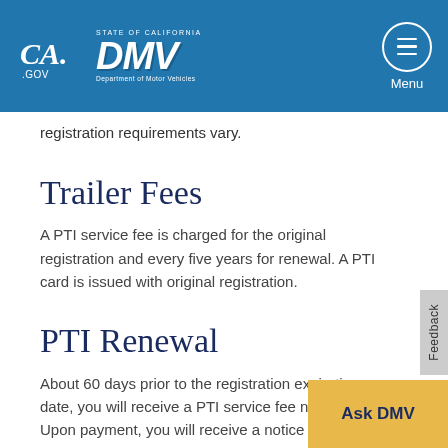CA.GOV | STATE OF CALIFORNIA DMV Department of Motor Vehicles | Menu
registration requirements vary.
Trailer Fees
A PTI service fee is charged for the original registration and every five years for renewal. A PTI card is issued with original registration.
PTI Renewal
About 60 days prior to the registration expiration date, you will receive a PTI service fee notice. Upon payment, you will receive a notice of acknowledgment for the payment; ho...